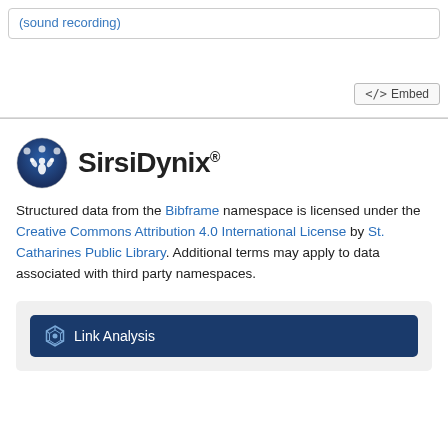(sound recording)
[Figure (screenshot): Embed button with code icon]
[Figure (logo): SirsiDynix logo with circular emblem and bold text]
Structured data from the Bibframe namespace is licensed under the Creative Commons Attribution 4.0 International License by St. Catharines Public Library. Additional terms may apply to data associated with third party namespaces.
[Figure (screenshot): Link Analysis button with hexagonal icon on dark blue background]